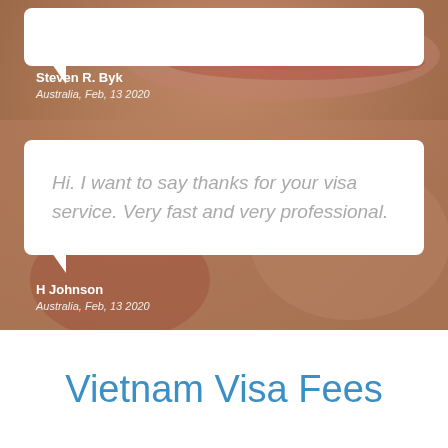[Figure (photo): Blurred close-up photograph of a person's face/skin as background]
Steven R. Byk
Australia, Feb, 13 2020
Hi. I want to say thanks for your visa service. Very fast and very professional.
H Johnson
Australia, Feb, 13 2020
Vietnam Visa Fees